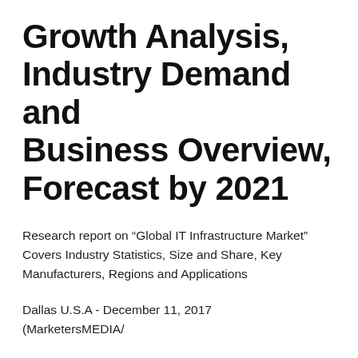Growth Analysis, Industry Demand and Business Overview, Forecast by 2021
Research report on “Global IT Infrastructure Market” Covers Industry Statistics, Size and Share, Key Manufacturers, Regions and Applications
Dallas U.S.A - December 11, 2017
(MarketersMEDIA/